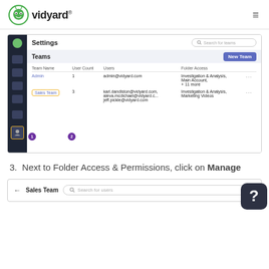vidyard® ≡
[Figure (screenshot): Vidyard Settings page showing Teams section with a table listing Team Name, User Count, Users, and Folder Access columns. Admin team row and Sales Team row (highlighted with orange border) are shown. Callout badges 1 and 2 mark the sidebar user icon and Sales Team respectively.]
3. Next to Folder Access & Permissions, click on Manage
[Figure (screenshot): Sales Team page header showing a back arrow, Sales Team label, and a Search for users input box.]